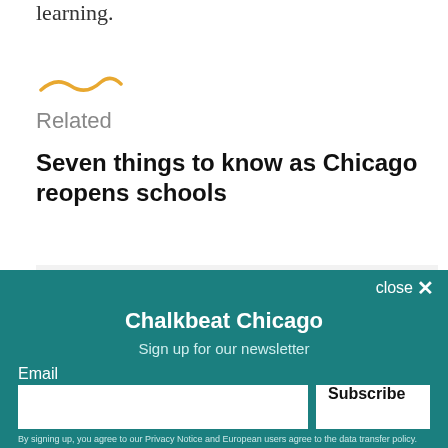learning.
[Figure (illustration): Decorative squiggle/wave line in amber/gold color]
Related
Seven things to know as Chicago reopens schools
Become a Chalkbeat sponsor
close ×
Chalkbeat Chicago
Sign up for our newsletter
Email
Subscribe
By signing up, you agree to our Privacy Notice and European users agree to the data transfer policy.